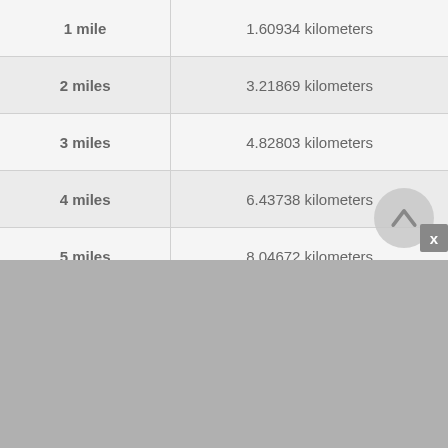| Miles | Kilometers |
| --- | --- |
| 1 mile | 1.60934 kilometers |
| 2 miles | 3.21869 kilometers |
| 3 miles | 4.82803 kilometers |
| 4 miles | 6.43738 kilometers |
| 5 miles | 8.04672 kilometers |
| 6 miles | 9.65606 kilometers |
| 7 miles | 11.26541 kilometers |
| 8 miles | 12.87475 kilometers |